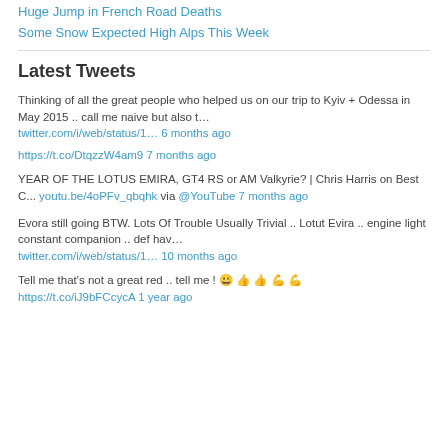Huge Jump in French Road Deaths
Some Snow Expected High Alps This Week
Latest Tweets
Thinking of all the great people who helped us on our trip to Kyiv + Odessa in May 2015 .. call me naive but also t…
twitter.com/i/web/status/1… 6 months ago
https://t.co/DtqzzW4am9 7 months ago
YEAR OF THE LOTUS EMIRA, GT4 RS or AM Valkyrie? | Chris Harris on Best C... youtu.be/4oPFv_qbqhk via @YouTube 7 months ago
Evora still going BTW. Lots Of Trouble Usually Trivial .. Lotut Evira .. engine light constant companion .. def hav…
twitter.com/i/web/status/1… 10 months ago
Tell me that's not a great red .. tell me ! 😀 👍 👍 💪 💪
https://t.co/iJ9bFCcycA 1 year ago